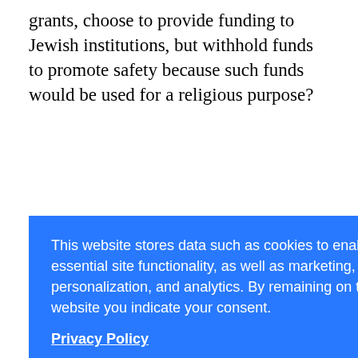grants, choose to provide funding to Jewish institutions, but withhold funds to promote safety because such funds would be used for a religious purpose?
It's clearly unjust for states to withhold funds simply because they have secular and religious uses. Doing so is premised on a worldview that takes for granted a ... religious. ... the court is ... nities equally, ... tion based
This website stores data such as cookies to enable essential site functionality, as well as marketing, personalization, and analytics. By remaining on this website you indicate your consent.
Privacy Policy
the executive director of public policy for the Union of